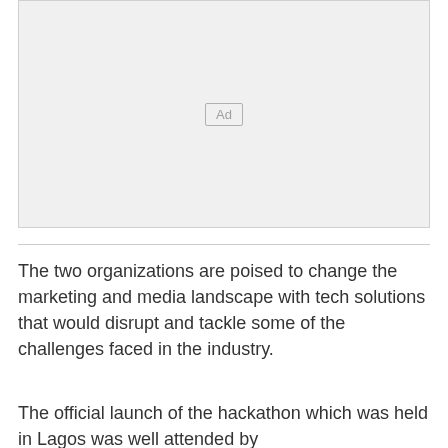[Figure (other): Advertisement placeholder box with 'Ad' label centered]
The two organizations are poised to change the marketing and media landscape with tech solutions that would disrupt and tackle some of the challenges faced in the industry.
The official launch of the hackathon which was held in Lagos was well attended by